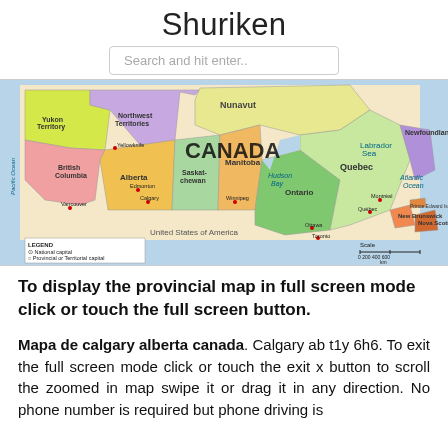Shuriken
Search and hit enter..
[Figure (map): Political map of Canada showing provinces and territories including Yukon Territory, Northwest Territories, Nunavut, British Columbia, Alberta, Saskatchewan, Manitoba, Ontario, Quebec, Newfoundland, Prince Edward Island, New Brunswick, Nova Scotia. Major cities labeled including Ottawa, Toronto, Vancouver, Edmonton, Calgary, etc. Legend shows national capital, provincial/territorial capital, and other populated places. Scale bar shown.]
To display the provincial map in full screen mode click or touch the full screen button.
Mapa de calgary alberta canada. Calgary ab t1y 6h6. To exit the full screen mode click or touch the exit x button to scroll the zoomed in map swipe it or drag it in any direction. No phone number is required but phone driving is